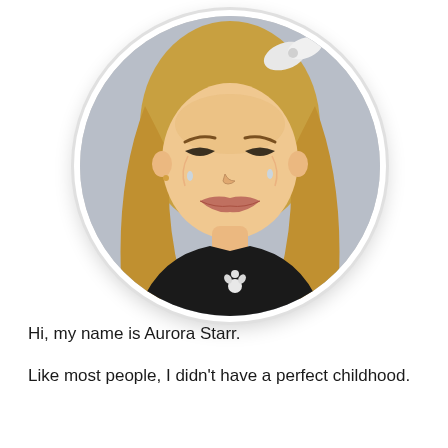[Figure (photo): A young blonde girl with long hair and a white hair bow, wearing a black dress with a white floral pin, making a crying/scrunching face. The photo is shown in a circular crop with a white border and light shadow on a white background.]
Hi, my name is Aurora Starr.
Like most people, I didn’t have a perfect childhood.